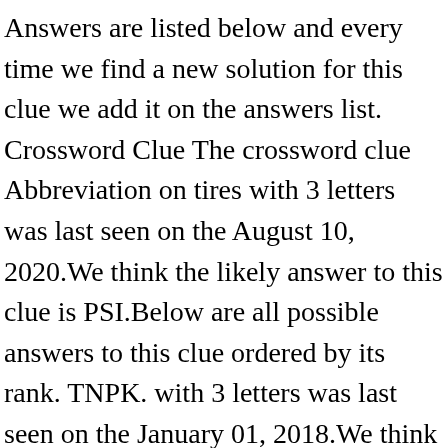Answers are listed below and every time we find a new solution for this clue we add it on the answers list. Crossword Clue The crossword clue Abbreviation on tires with 3 letters was last seen on the August 10, 2020.We think the likely answer to this clue is PSI.Below are all possible answers to this clue ordered by its rank. TNPK. with 3 letters was last seen on the January 01, 2018.We think the likely answer to this clue is RTE.Below are all possible answers to this clue ordered by its rank. We've arranged the synonyms in length order